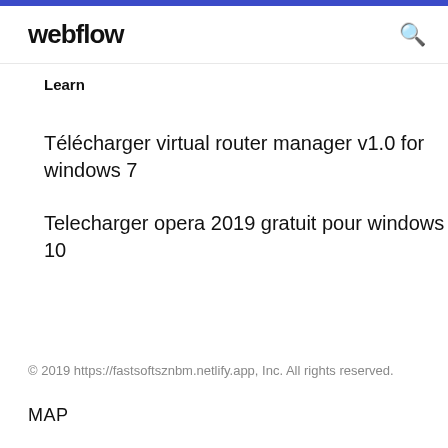webflow
Learn
Télécharger virtual router manager v1.0 for windows 7
Telecharger opera 2019 gratuit pour windows 10
© 2019 https://fastsoftsznbm.netlify.app, Inc. All rights reserved.
MAP